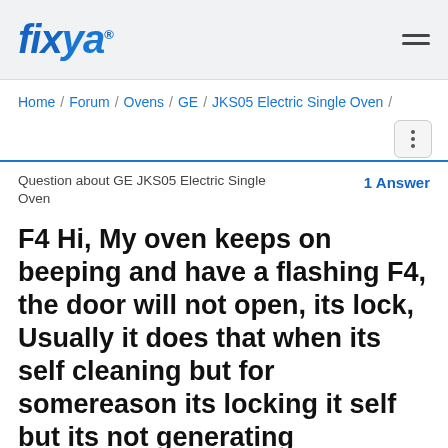fixya
Home / Forum / Ovens / GE / JKS05 Electric Single Oven /
Question about GE JKS05 Electric Single Oven   1 Answer
F4 Hi, My oven keeps on beeping and have a flashing F4, the door will not open, its lock, Usually it does that when its self cleaning but for somereason its locking it self but its not generating heat,which is a good thing...